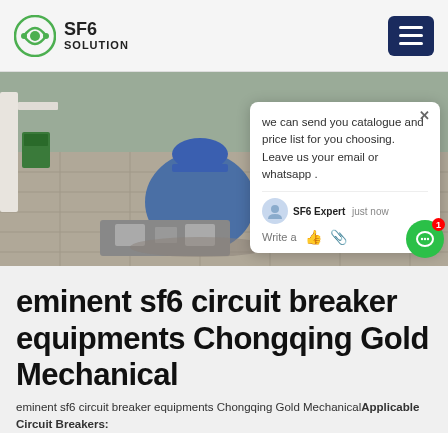SF6 SOLUTION
[Figure (photo): Worker in blue coveralls and blue hard hat crouching outdoors on a paved surface, using SF6 circuit breaker equipment. A chat popup overlay is visible on the right side of the image with text: 'we can send you catalogue and price list for you choosing. Leave us your email or whatsapp .' Signed by SF6 Expert, just now.]
eminent sf6 circuit breaker equipments Chongqing Gold Mechanical
eminent sf6 circuit breaker equipments Chongqing Gold MechanicalApplicable Circuit Breakers: